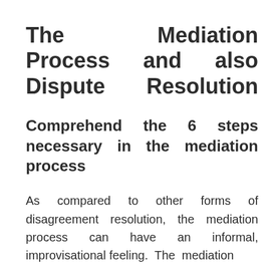The Mediation Process and also Dispute Resolution
Comprehend the 6 steps necessary in the mediation process
As compared to other forms of disagreement resolution, the mediation process can have an informal, improvisational feeling. The mediation